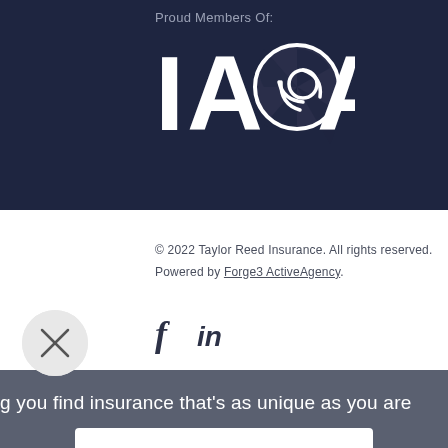Proud Members Of:
[Figure (logo): IAOA logo in white on dark navy background, featuring stylized lens/aperture symbol replacing the 'O']
© 2022 Taylor Reed Insurance. All rights reserved. Powered by Forge3 ActiveAgency.
[Figure (illustration): Social media icons: Facebook (f) and LinkedIn (in)]
[Figure (other): Close button (X) circular overlay]
g you find insurance that's as unique as you are
Get a Quote
Client Center